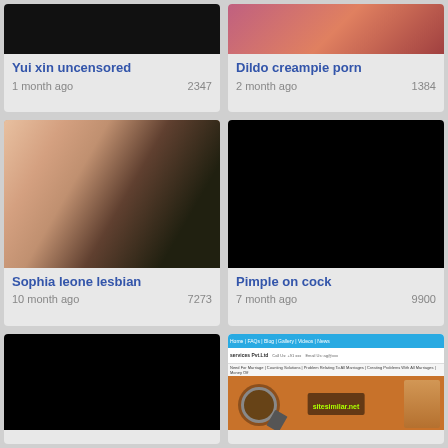[Figure (photo): Cropped top thumbnail black rectangle for Yui xin uncensored]
Yui xin uncensored
1 month ago	2347
[Figure (photo): Cropped top thumbnail with tattooed figure for Dildo creampie porn]
Dildo creampie porn
2 month ago	1384
[Figure (photo): Two women photo thumbnail for Sophia leone lesbian]
Sophia leone lesbian
10 month ago	7273
[Figure (photo): Black rectangle thumbnail for Pimple on cock]
Pimple on cock
7 month ago	9900
[Figure (photo): Black rectangle thumbnail bottom left]
[Figure (screenshot): sitesimilar.net screenshot showing a website with magnifying glass overlay]